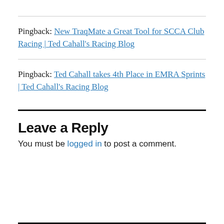Pingback: New TraqMate a Great Tool for SCCA Club Racing | Ted Cahall's Racing Blog
Pingback: Ted Cahall takes 4th Place in EMRA Sprints | Ted Cahall's Racing Blog
Leave a Reply
You must be logged in to post a comment.